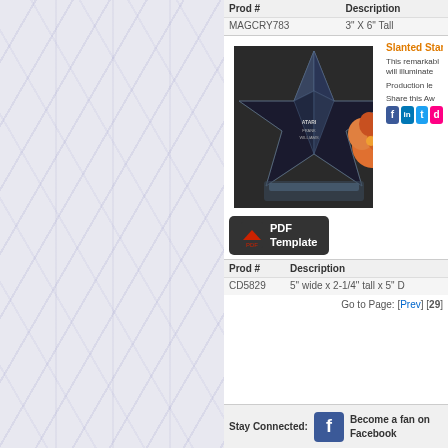[Figure (photo): Marble texture background on left half of page]
| Prod # | Description |
| --- | --- |
| MAGCRY783 | 3" X 6" Tall |
[Figure (photo): Crystal slanted star award trophy with Atari engraving, placed on dark surface with orange flower]
Slanted Star P
This remarkable will illuminate
Production le
Share this Aw
[Figure (other): PDF Template download button]
| Prod # | Description |
| --- | --- |
| CD5829 | 5" wide x 2-1/4" tall x 5" D |
Go to Page: [Prev] [29]
Stay Connected:
Become a fan on Facebook